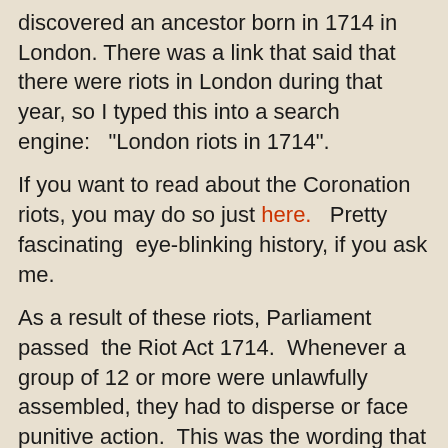discovered an ancestor born in 1714 in London. There was a link that said that there were riots in London during that year, so I typed this into a search engine:   "London riots in 1714".
If you want to read about the Coronation riots, you may do so just here.   Pretty fascinating  eye-blinking history, if you ask me.
As a result of these riots, Parliament passed  the Riot Act 1714.  Whenever a group of 12 or more were unlawfully assembled, they had to disperse or face punitive action.  This was the wording that had to be read out to those that were gathered:
Our sovereign lord the King chargeth and commandeth all persons, being assembled, immediately to disperse themselves, and peaceably to depart to their habitations, or to their lawful business, upon the pains contained in the act made in the first year of King George, for preventing...